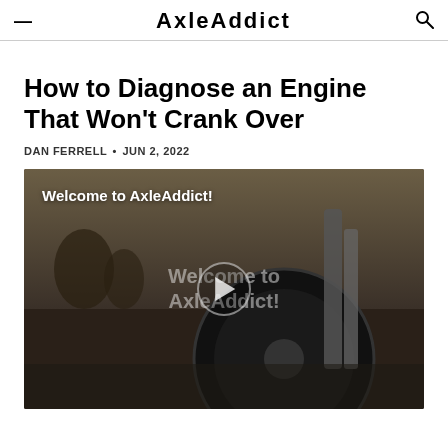AxleAddict
How to Diagnose an Engine That Won't Crank Over
DAN FERRELL • JUN 2, 2022
[Figure (screenshot): Video thumbnail showing a motorcycle front wheel on a road, with text 'Welcome to AxleAddict!' overlaid and a play button in the center. Background text also reads 'Welcome to AxleAddict!']